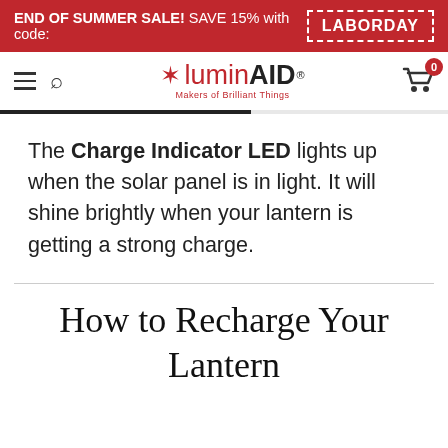END OF SUMMER SALE! SAVE 15% with code: LABORDAY
[Figure (logo): LuminAID logo with sun icon, text 'luminAID Makers of Brilliant Things']
The Charge Indicator LED lights up when the solar panel is in light. It will shine brightly when your lantern is getting a strong charge.
How to Recharge Your Lantern